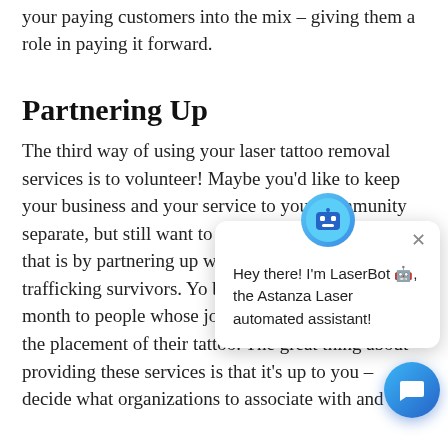your paying customers into the mix – giving them a role in paying it forward.
Partnering Up
The third way of using your laser tattoo removal services is to volunteer! Maybe you'd like to keep your business and your service to your community separate, but still want to help. A great way to do that is by partnering up with correctional facility or trafficking survivors. You by giving free laser tatt month to people whose job month is limited due to the placement of their tattoo. The great thing about providing these services is that it's up to you – decide what organizations to associate with and how